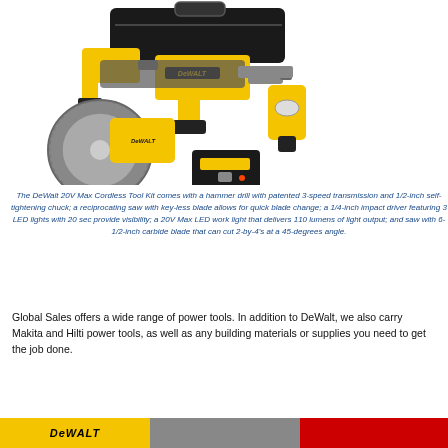[Figure (photo): DeWalt 20V Max cordless tool kit showing hammer drill, reciprocating saw, impact driver, LED work light, circular saw with 6-1/2-inch carbide blade, battery charger, and carrying bag]
The DeWalt 20V Max Cordless Tool Kit comes with a hammer drill with patented 3-speed transmission and 1/2-inch self-tightening chuck; a reciprocating saw with key-less blade allows for quick blade change; a 1/4-inch impact driver featuring 3 LED lights with 20 sec provide visibility; a 20V Max LED work light that delivers 110 lumens of light output; and saw with 6-1/2-inch carbide blade that can cut 2-by-4's at a 45-degrees angle.
Global Sales offers a wide range of power tools. In addition to DeWalt, we also carry Makita and Hilti power tools, as well as any building materials or supplies you need to get the job done.